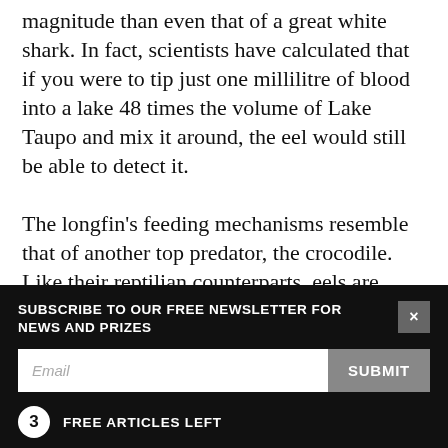magnitude than even that of a great white shark. In fact, scientists have calculated that if you were to tip just one millilitre of blood into a lake 48 times the volume of Lake Taupo and mix it around, the eel would still be able to detect it.

The longfin's feeding mechanisms resemble that of another top predator, the crocodile. Like their reptilian counterparts, eels are classic ambush predators, concealing themselves and lunging at hapless victims as they pass. The suction created by the mouth allows the eel to virtually inhale its food
SUBSCRIBE TO OUR FREE NEWSLETTER FOR NEWS AND PRIZES
Email
SUBMIT
3 FREE ARTICLES LEFT